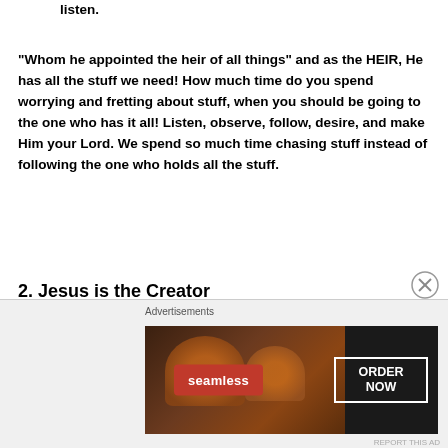listen.
“Whom he appointed the heir of all things” and as the HEIR, He has all the stuff we need! How much time do you spend worrying and fretting about stuff, when you should be going to the one who has it all! Listen, observe, follow, desire, and make Him your Lord. We spend so much time chasing stuff instead of following the one who holds all the stuff.
2. Jesus is the Creator
He created you. You are not evolved from monkeys or iridescent goo. You are no accident.
[Figure (advertisement): Seamless food delivery advertisement with pizza image, Seamless logo in red, and ORDER NOW button in white border box on dark background.]